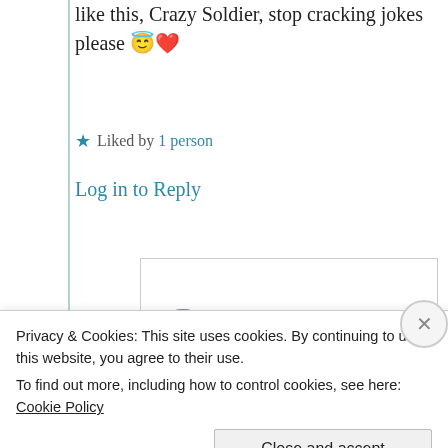like this, Crazy Soldier, stop cracking jokes please 😇❤️
★ Liked by 1 person
Log in to Reply
[Figure (photo): Circular avatar photo of user .Killa., showing a person in grey/blue clothing]
.Killa.
18th May 2021 at 10:16 pm
Privacy & Cookies: This site uses cookies. By continuing to use this website, you agree to their use.
To find out more, including how to control cookies, see here: Cookie Policy
Close and accept